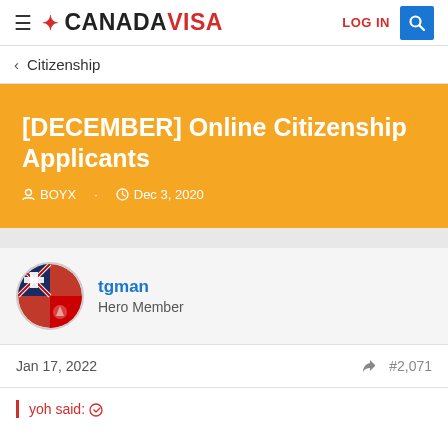≡ ❋ CANADAVISA   LOG IN 🔍
< Citizenship
[DECEMBER] Online Citizenship Applicants
BOYX · Dec 3, 2020
tgman
Hero Member
Jan 17, 2022   #2,071
yoh said: